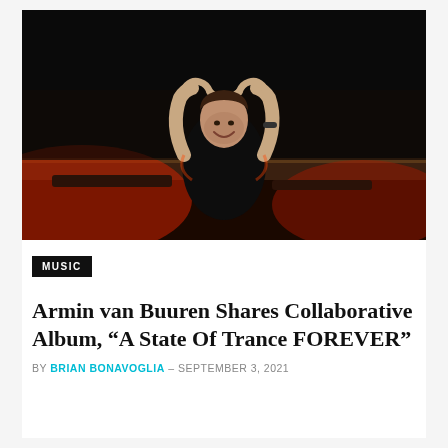[Figure (photo): A performer (Armin van Buuren) at a DJ booth making a heart shape with his hands raised above his head, smiling, wearing a black t-shirt. Dark background with red stage lighting on equipment in the foreground.]
MUSIC
Armin van Buuren Shares Collaborative Album, “A State Of Trance FOREVER”
BY BRIAN BONAVOGLIA – SEPTEMBER 3, 2021